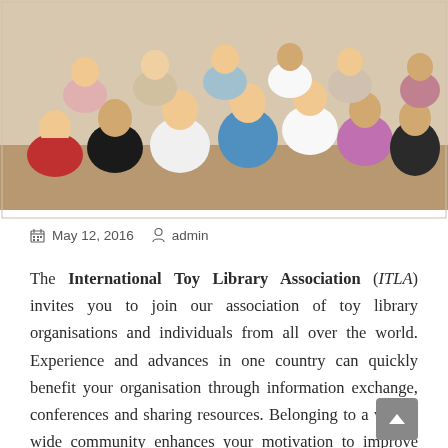[Figure (photo): Group photo of International Toy Library Association members, various adults and a child, posed together indoors]
May 12, 2016   admin
The International Toy Library Association (ITLA) invites you to join our association of toy library organisations and individuals from all over the world. Experience and advances in one country can quickly benefit your organisation through information exchange, conferences and sharing resources. Belonging to a world-wide community enhances your motivation to improve your services, brings great opportunities of new learning and new friendship. ITLA warmly welcomes you to our international play room.